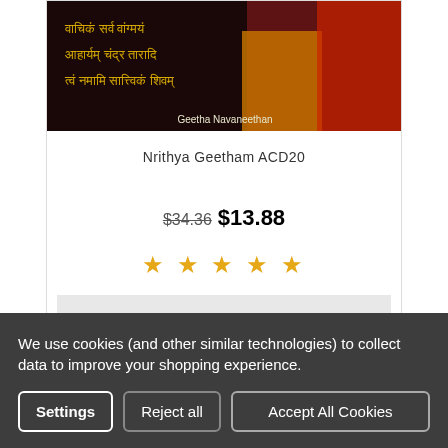[Figure (illustration): Book/CD cover image with Sanskrit text on dark background and a woman in red and yellow saree. Text reads: वाचिकं सर्व वांग्मयं आहार्यम् चंद्र तारादि त्वं नमामि सात्त्विकं शिवम्. Attribution: Geetha Navaneethan]
Nrithya Geetham ACD20
$34.36 $13.88
[Figure (other): Five gold/orange star rating icons]
ADD TO CART
We use cookies (and other similar technologies) to collect data to improve your shopping experience.
Settings
Reject all
Accept All Cookies